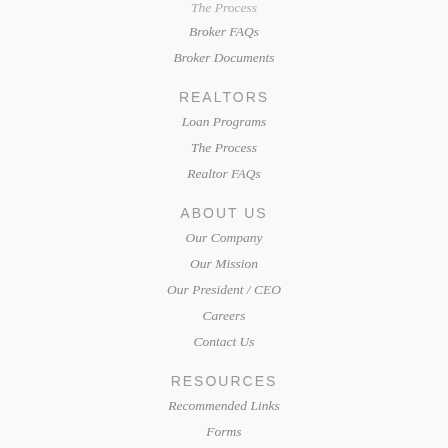The Process
Broker FAQs
Broker Documents
REALTORS
Loan Programs
The Process
Realtor FAQs
ABOUT US
Our Company
Our Mission
Our President / CEO
Careers
Contact Us
RESOURCES
Recommended Links
Forms